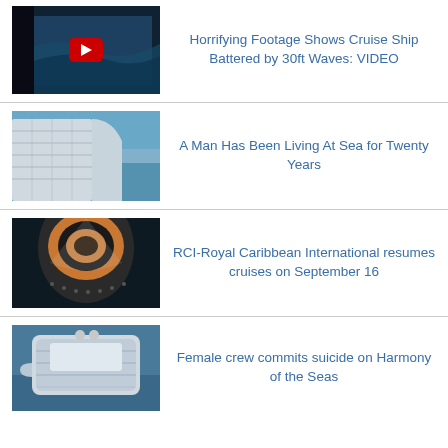[Figure (photo): Dark window view of rough ocean waves with a YouTube play button overlay]
Horrifying Footage Shows Cruise Ship Battered by 30ft Waves: VIDEO
[Figure (photo): Aerial view of a large cruise ship showing balconies against a blue ocean backdrop]
A Man Has Been Living At Sea for Twenty Years
[Figure (photo): Close-up of the bow of a Royal Caribbean cruise ship viewed from above against dark water]
RCI-Royal Caribbean International resumes cruises on September 16
[Figure (photo): Aerial view of a large cruise ship Harmony of the Seas from above]
Female crew commits suicide on Harmony of the Seas